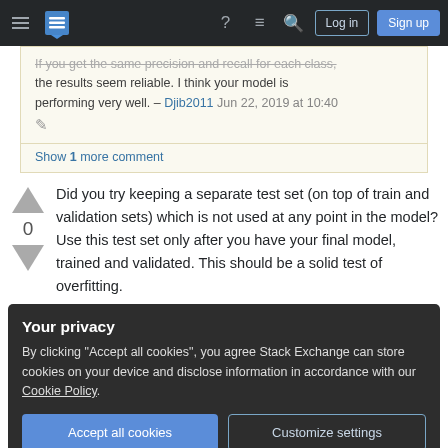Stack Exchange navigation bar with hamburger menu, logo, help icon, chat icon, search icon, Log in and Sign up buttons
If you get the same precision and recall for each class, the results seem reliable. I think your model is performing very well. – Djib2011 Jun 22, 2019 at 10:40
Show 1 more comment
Did you try keeping a separate test set (on top of train and validation sets) which is not used at any point in the model? Use this test set only after you have your final model, trained and validated. This should be a solid test of overfitting.
Your privacy
By clicking "Accept all cookies", you agree Stack Exchange can store cookies on your device and disclose information in accordance with our Cookie Policy.
Accept all cookies  Customize settings
Over-fitting happens when validation accuracy